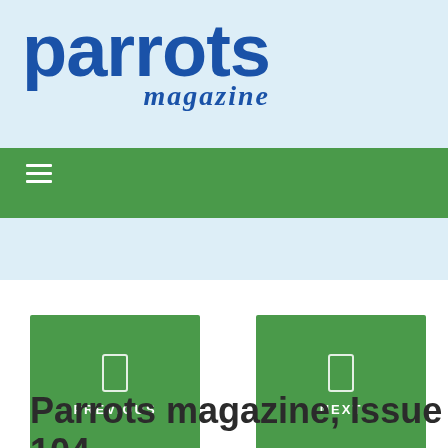[Figure (logo): Parrots magazine logo with bold blue 'parrots' text and italic blue 'magazine' text on light blue background]
[Figure (other): Green navigation bar with white hamburger menu icon]
[Figure (other): Light blue strip with grey shopping cart icon on the right]
[Figure (other): Green PREVIOUS button with rectangle icon and text PREVIOUS]
[Figure (other): Green NEXT button with rectangle icon and text NEXT]
Parrots magazine, Issue 104